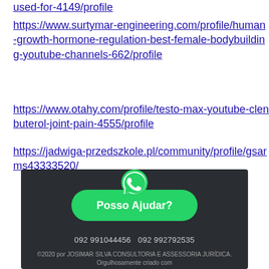used-for-4149/profile
https://www.surtymar-engineering.com/profile/human-growth-hormone-regulation-best-female-bodybuilding-youtube-channels-662/profile
https://www.otahy.com/profile/testo-max-youtube-clenbuterol-joint-pain-4555/profile
https://jadwiga-przedszkole.pl/community/profile/gsarms43333520/
[Figure (infographic): WhatsApp contact button with green rounded rectangle labeled 'Posso Ajudar?' and WhatsApp logo icon above it, on dark background with phone numbers 092 991044456 and 092 992792535, and copyright footer text.]
092 991044456   092 992792535
©2020 por JOSIMAR SILVA CONSULTORIA E ASSESSORIA JURÍDICA. Orgulhosamente criado com